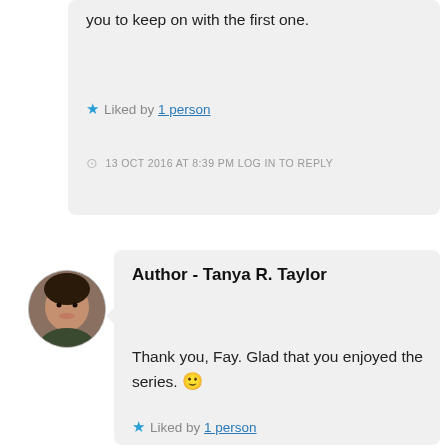you to keep on with the first one.
Liked by 1 person
13 OCT 2016 AT 8:39 PM LOG IN TO REPLY
[Figure (photo): Circular avatar photo of a woman (Tanya R. Taylor)]
Author - Tanya R. Taylor
Thank you, Fay. Glad that you enjoyed the series. 🙂
Liked by 1 person